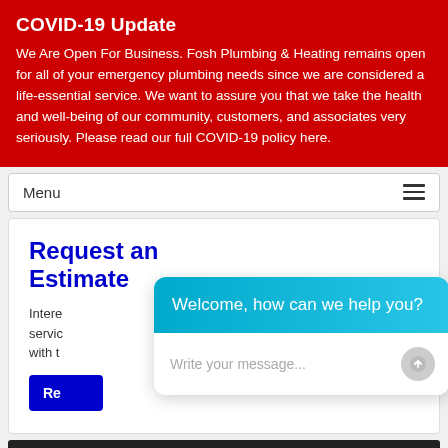COVID-19 Update
We Are Open For Business. Fosh Plumbing & Heating remains open for all of your emergency plumbing needs since we are considered a life-essential service. We want to assure you that we take the health and well-being of our community, customers, and associates very seriously. Please read our full COVID-19 policy here.
Menu
Request an Estimate
Intere... servic... with t...
Re...
[Figure (screenshot): Chat widget overlay with cyan/teal header reading 'Welcome, how can we help you?' and a text input area with placeholder 'Write your message...' and a send button]
[Figure (photo): Dark image strip at the bottom of the page]